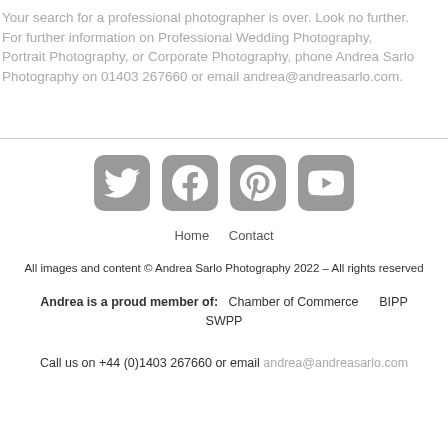Your search for a professional photographer is over. Look no further. For further information on Professional Wedding Photography, Portrait Photography, or Corporate Photography, phone Andrea Sarlo Photography on 01403 267660 or email andrea@andreasarlo.com.
[Figure (infographic): Four social media icon buttons in grey rounded squares: Twitter bird icon, Facebook f icon, Pinterest p icon, YouTube play button icon]
Home   Contact
All images and content © Andrea Sarlo Photography 2022 – All rights reserved
Andrea is a proud member of:   Chamber of Commerce   BIPP   SWPP
Call us on +44 (0)1403 267660 or email andrea@andreasarlo.com